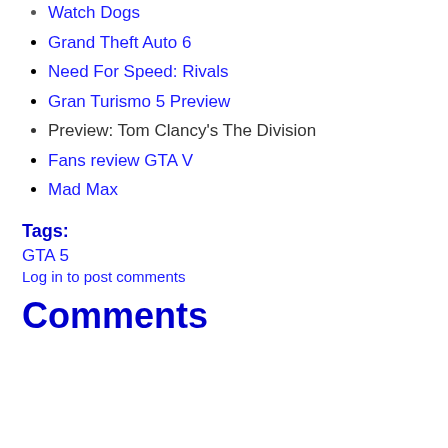Watch Dogs
Grand Theft Auto 6
Need For Speed: Rivals
Gran Turismo 5 Preview
Preview: Tom Clancy's The Division
Fans review GTA V
Mad Max
Tags:
GTA 5
Log in to post comments
Comments